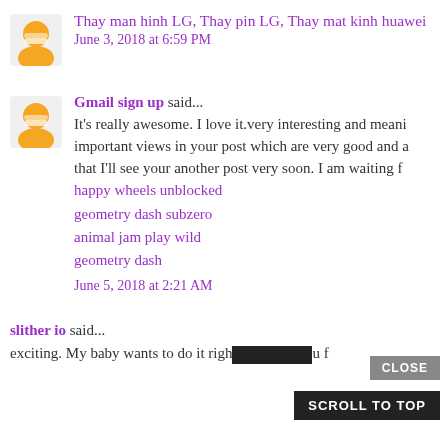Thay man hinh LG, Thay pin LG, Thay mat kinh huawei
June 3, 2018 at 6:59 PM
Gmail sign up said...
It's really awesome. I love it.very interesting and meaningful. important views in your post which are very good and a... that I'll see your another post very soon. I am waiting f...
happy wheels unblocked
geometry dash subzero
animal jam play wild
geometry dash
June 5, 2018 at 2:21 AM
slither io said...
exciting. My baby wants to do it righ... you f...
CLOSE
SCROLL TO TOP